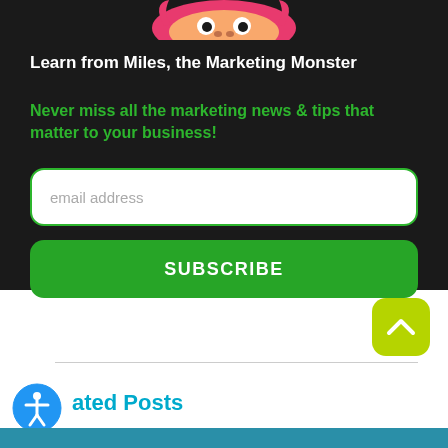[Figure (illustration): Top portion of Miles the Marketing Monster character — pink/red monster with horns visible at top of dark section]
Learn from Miles, the Marketing Monster
Never miss all the marketing news & tips that matter to your business!
[Figure (screenshot): Email address input field with rounded corners and green border on dark background]
[Figure (screenshot): Green SUBSCRIBE button with rounded corners]
[Figure (screenshot): Yellow-green scroll-to-top button with upward chevron arrow]
ated Posts